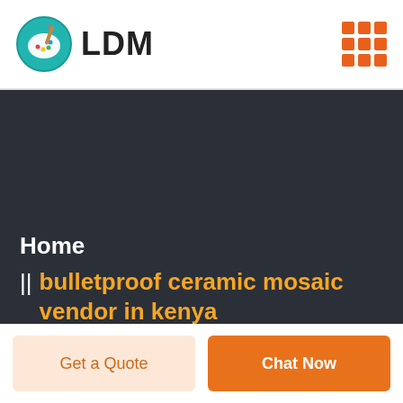LDM
Home || bulletproof ceramic mosaic vendor in kenya
Get a Quote
Chat Now